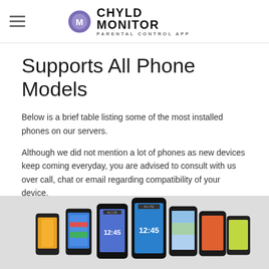CHYLD MONITOR — PARENTAL CONTROL APP
Supports All Phone Models
Below is a brief table listing some of the most installed phones on our servers.
Although we did not mention a lot of phones as new devices keep coming everyday, you are advised to consult with us over call, chat or email regarding compatibility of your device.
[Figure (photo): Row of multiple smartphone devices displayed side by side, with different colored screens and cases, showing various phone models supported by the app.]